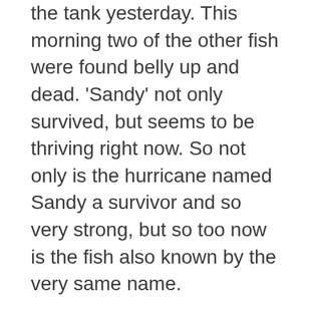the tank yesterday.  This morning two of the other fish were found belly up and dead.  'Sandy' not only survived, but seems to be thriving right now.  So not only is the hurricane named Sandy a survivor and so very strong, but so too now is the fish also known by the very same name.
Believe me the irony did not go unnoticed on me this morning and now I am just that much more frightened and hope to god it is a coincidence, but just in case you don't see me online for a few days I may be one of the casualties of Hurricane Sandy and may very well be without